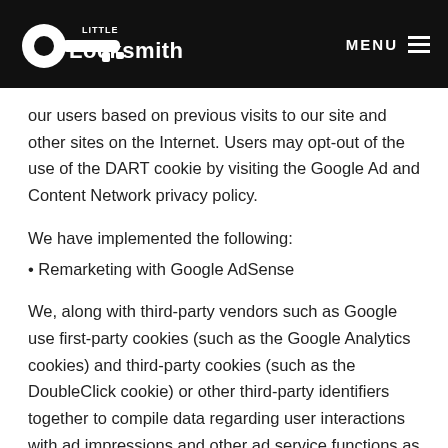Little Locksmith — MENU
our users based on previous visits to our site and other sites on the Internet. Users may opt-out of the use of the DART cookie by visiting the Google Ad and Content Network privacy policy.
We have implemented the following:
Remarketing with Google AdSense
We, along with third-party vendors such as Google use first-party cookies (such as the Google Analytics cookies) and third-party cookies (such as the DoubleClick cookie) or other third-party identifiers together to compile data regarding user interactions with ad impressions and other ad service functions as they relate to our website.